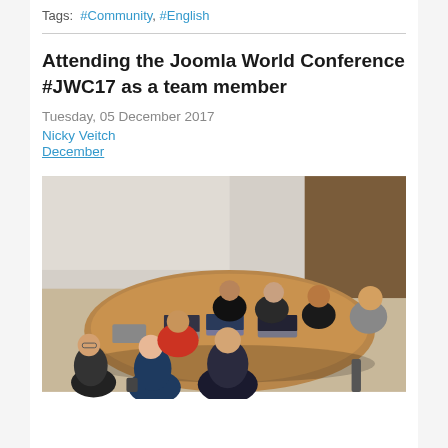Tags: #Community, #English
Attending the Joomla World Conference #JWC17 as a team member
Tuesday, 05 December 2017
Nicky Veitch
December
[Figure (photo): Group of people sitting around a large oval conference table with laptops open, working in a meeting room. Multiple participants visible from various angles.]